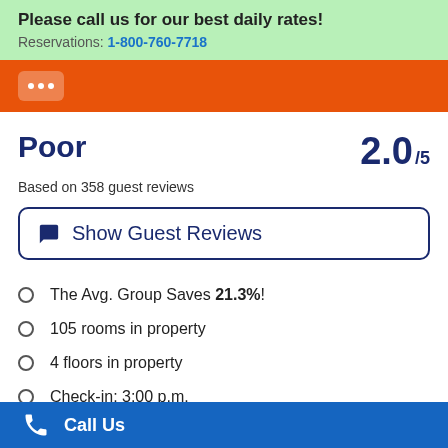Please call us for our best daily rates!
Reservations: 1-800-760-7718
[Figure (other): Orange bar with white icon box containing three white dots]
Poor
2.0/5
Based on 358 guest reviews
Show Guest Reviews
The Avg. Group Saves 21.3%!
105 rooms in property
4 floors in property
Check-in: 3:00 p.m.
Call Us